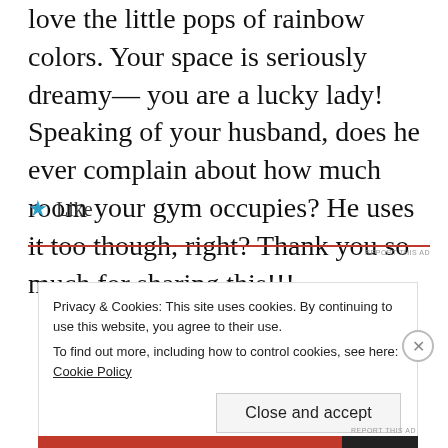love the little pops of rainbow colors. Your space is seriously dreamy— you are a lucky lady! Speaking of your husband, does he ever complain about how much room your gym occupies? He uses it too though, right? Thank you so much for sharing this!!!
★ Like
REPORT THIS AD
Privacy & Cookies: This site uses cookies. By continuing to use this website, you agree to their use.
To find out more, including how to control cookies, see here: Cookie Policy
Close and accept